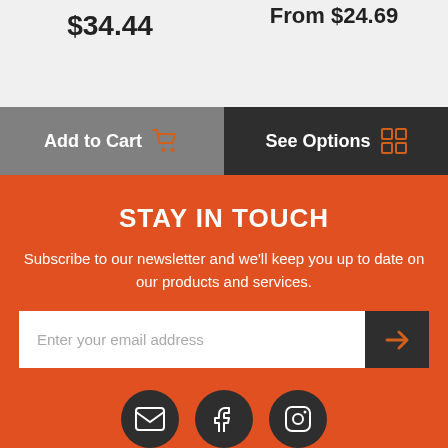$34.44
From $24.69
Add to Cart
See Options
STAY IN TOUCH
Subscribe to our newsletter and we'll keep you up to date on our products and services.
Enter your email address